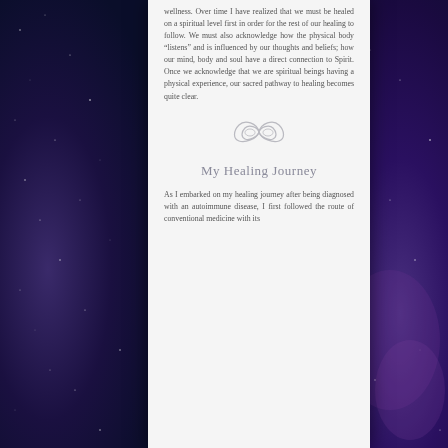wellness. Over time I have realized that we must be healed on a spiritual level first in order for the rest of our healing to follow. We must also acknowledge how the physical body “listens” and is influenced by our thoughts and beliefs; how our mind, body and soul have a direct connection to Spirit. Once we acknowledge that we are spiritual beings having a physical experience, our sacred pathway to healing becomes quite clear.
[Figure (illustration): Decorative infinity/lemniscate ornament in light gray]
My Healing Journey
As I embarked on my healing journey after being diagnosed with an autoimmune disease, I first followed the route of conventional medicine with its